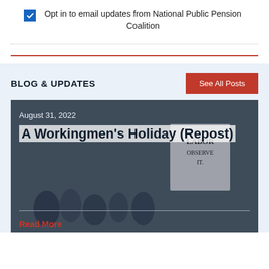Opt in to email updates from National Public Pension Coalition
BLOG & UPDATES
See All Posts
August 31, 2022
A Workingmen's Holiday (Repost)
Read More